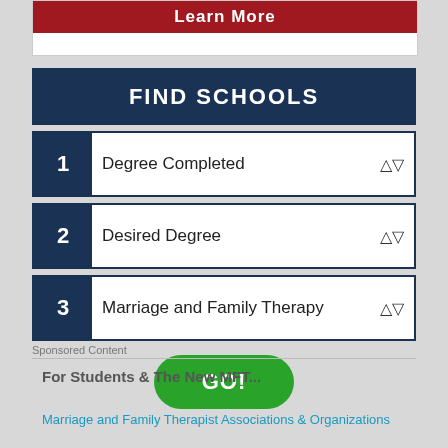[Figure (screenshot): Partial red 'Learn More' button cropped at top of page]
FIND SCHOOLS
1  Degree Completed
2  Desired Degree
3  Marriage and Family Therapy
GO!
Sponsored Content
For Students & The New MFT...
Marriage and Family Therapist Associations & Organizations